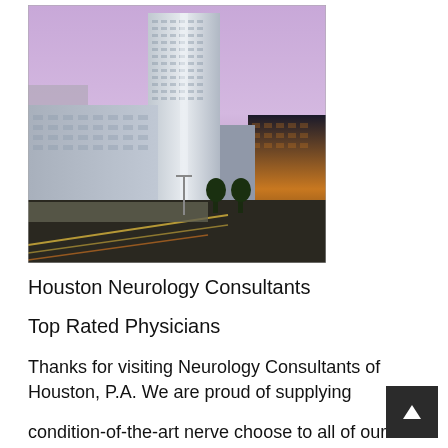[Figure (photo): Aerial/street-level dusk photo of Houston downtown skyline showing tall glass skyscrapers and city streets with light trails]
Houston Neurology Consultants
Top Rated Physicians
Thanks for visiting Neurology Consultants of Houston, P.A. We are proud of supplying
condition-of-the-art nerve choose to all of our